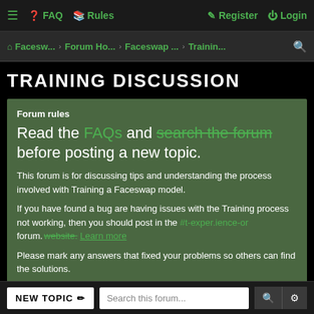≡  FAQ  Rules  Register  Login
Facesw... › Forum Ho... › Faceswap ... › Trainin...
TRAINING DISCUSSION
Forum rules
Read the FAQs and search the forum before posting a new topic.
This forum is for discussing tips and understanding the process involved with Training a Faceswap model.
If you have found a bug are having issues with the Training process not working, then you should post in the #t-exper.ience-or forum. Learn more
Please mark any answers that fixed your problems so others can find the solutions.